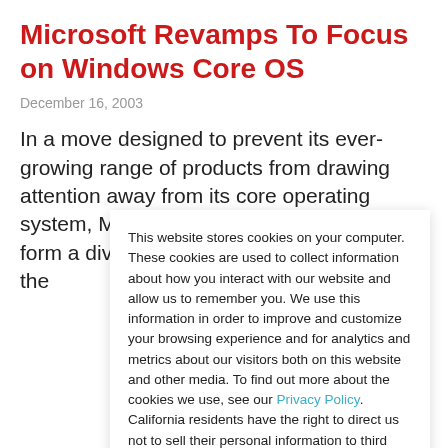Microsoft Revamps To Focus on Windows Core OS
December 16, 2003
In a move designed to prevent its ever-growing range of products from drawing attention away from its core operating system, Microsoft has announced it will form a division solely focused on improving the
This website stores cookies on your computer. These cookies are used to collect information about how you interact with our website and allow us to remember you. We use this information in order to improve and customize your browsing experience and for analytics and metrics about our visitors both on this website and other media. To find out more about the cookies we use, see our Privacy Policy. California residents have the right to direct us not to sell their personal information to third parties by filing an Opt-Out Request: Do Not Sell My Personal Info.
Accept